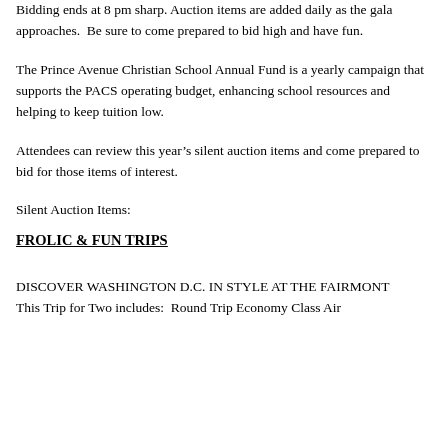Bidding ends at 8 pm sharp. Auction items are added daily as the gala approaches.  Be sure to come prepared to bid high and have fun.
The Prince Avenue Christian School Annual Fund is a yearly campaign that supports the PACS operating budget, enhancing school resources and helping to keep tuition low.
Attendees can review this year’s silent auction items and come prepared to bid for those items of interest.
Silent Auction Items:
FROLIC & FUN TRIPS
DISCOVER WASHINGTON D.C. IN STYLE AT THE FAIRMONT
This Trip for Two includes:  Round Trip Economy Class Air